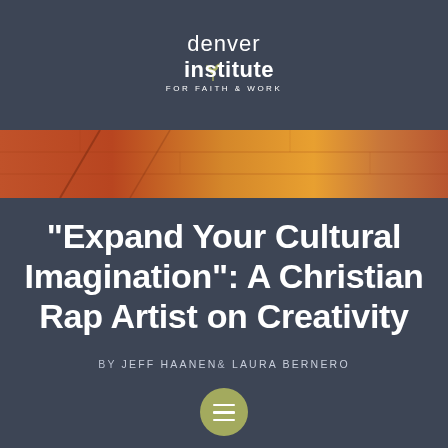[Figure (logo): Denver Institute for Faith & Work logo — white text with leaf/sprout icon]
[Figure (photo): Horizontal banner image showing textured wall or brick surface in warm orange, red, and yellow tones]
“Expand Your Cultural Imagination”: A Christian Rap Artist on Creativity
BY JEFF HAANEN & LAURA BERNERO
[Figure (other): Olive/green circular menu button with three horizontal white lines (hamburger icon)]